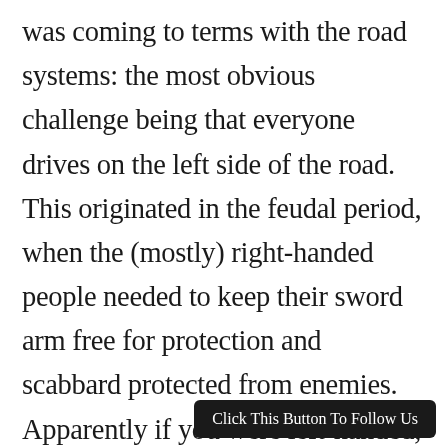was coming to terms with the road systems: the most obvious challenge being that everyone drives on the left side of the road. This originated in the feudal period, when the (mostly) right-handed people needed to keep their sword arm free for protection and scabbard protected from enemies. Apparently if you were left-handed, you were just out of luck. In major cities in the UK, many pedestrian crossings are marked with “Look Right” and “Look Left,” appropriately placed to assist confused foreigners. It takes some time to retrain brain functions both arriving in country and returning to the US as a walker and driver, to avoid the i
Click This Button To Follow Us